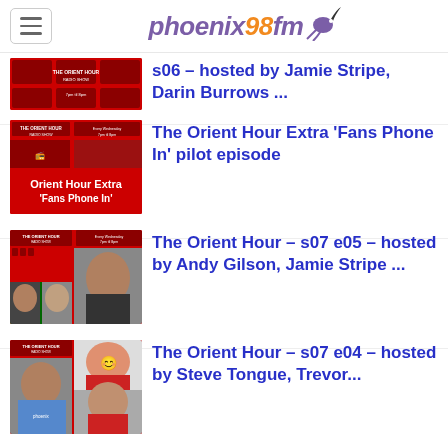phoenix98fm
[Figure (photo): The Orient Hour Radio Show thumbnail with faces, partial view at top]
s06 – hosted by Jamie Stripe, Darin Burrows ...
[Figure (photo): The Orient Hour Radio Show - Orient Hour Extra 'Fans Phone In' show thumbnail]
The Orient Hour Extra 'Fans Phone In' pilot episode
[Figure (photo): The Orient Hour Radio Show - s07 e05 thumbnail with host photos]
The Orient Hour – s07 e05 – hosted by Andy Gilson, Jamie Stripe ...
[Figure (photo): The Orient Hour Radio Show - s07 e04 thumbnail with host photos]
The Orient Hour – s07 e04 – hosted by Steve Tongue, Trevor...